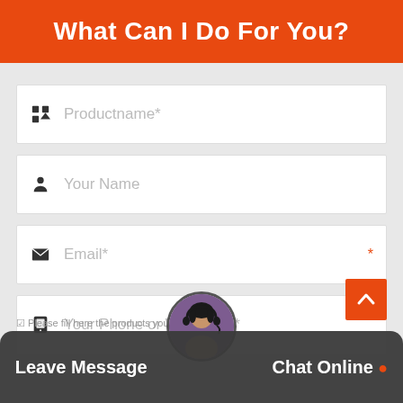What Can I Do For You?
Productname*
Your Name
Email*
Your Phone or Whatsapp*
Leave Message
Chat Online
Please fill here the products you need